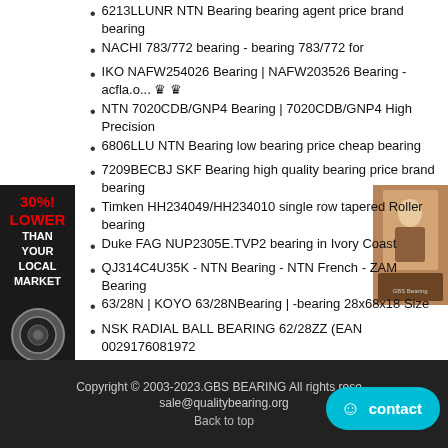6213LLUNR NTN Bearing bearing agent price brand bearing
NACHI 783/772 bearing - bearing 783/772 for
IKO NAFW254026 Bearing | NAFW203526 Bearing - acfla.o... ♛ ♛
NTN 7020CDB/GNP4 Bearing | 7020CDB/GNP4 High Precision
6806LLU NTN Bearing low bearing price cheap bearing
7209BECBJ SKF Bearing high quality bearing price brand bearing
Timken HH234049/HH234010 single row tapered Roller bearing
Duke FAG NUP2305E.TVP2 bearing in Ivory Coast
QJ314C4U35K - NTN Bearing - NTN French - ZAM Bearing
63/28N | KOYO 63/28NBearing | -bearing 28x68x18 Size
NSK RADIAL BALL BEARING 62/28ZZ (EAN 0029176081972
310KDD TIMKEN Bearing bearing import best bearing supplier
AC-6305 NTN Bearing original bearing size top brand bearing
FAG HCB7017-E-2RSD-T-P4S Bearings - FAB Bearing Co.,
T-HM262749/HM262710G2 NTN Bearing bearing specialist bearing discount
Cetificated AXS6074 a poussé l'acier au chrome Simple
Copyright © 2003-2023.GBS BEARING All rights reserved sale@qualitybearing.org Back to top